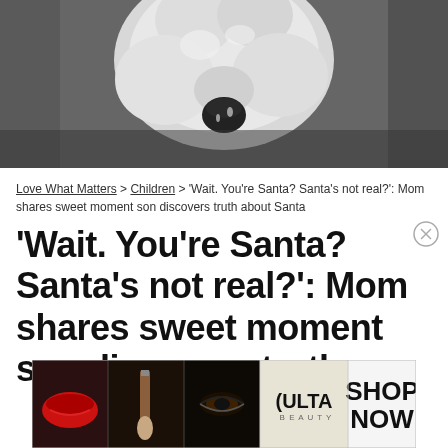[Figure (photo): Black and white close-up photo of a ceramic or porcelain Santa Claus figurine face]
Love What Matters > Children > 'Wait. You're Santa? Santa's not real?': Mom shares sweet moment son discovers truth about Santa
'Wait. You're Santa? Santa's not real?': Mom shares sweet moment son discovers truth about Santa
[Figure (photo): ULTA Beauty advertisement banner showing makeup images (lips with red lipstick, makeup brush, eye with mascara, ULTA logo, eye with eyeliner) and SHOP NOW text]